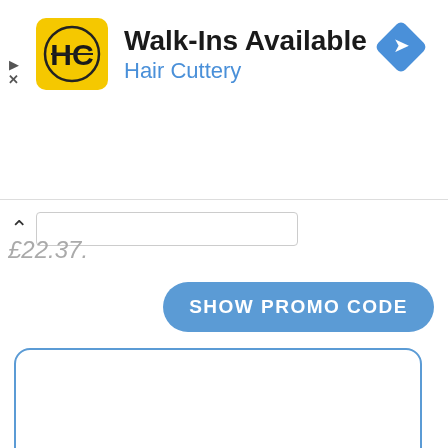[Figure (screenshot): Hair Cuttery advertisement banner. Yellow rounded square logo with 'HC' in black. Text reads 'Walk-Ins Available' in bold black and 'Hair Cuttery' in blue. Blue diamond navigation icon top right. Play and X controls on left side.]
£22.37.
SHOW PROMO CODE
[Figure (logo): LogoMojo logo partially visible in a rounded-corner card with blue border. Shows colorful text 'LogoMojo' in blue and green with circular graphic element.]